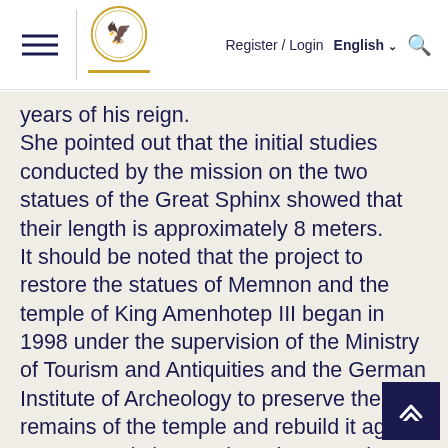Register / Login  English  [search]
years of his reign. She pointed out that the initial studies conducted by the mission on the two statues of the Great Sphinx showed that their length is approximately 8 meters. It should be noted that the project to restore the statues of Memnon and the temple of King Amenhotep III began in 1998 under the supervision of the Ministry of Tourism and Antiquities and the German Institute of Archeology to preserve the remains of the temple and rebuild it again. Queen T. It is known that King Amenhotep III had built his mortuary temple, which he called the Temple of Millions of Years on the western mainland in Luxor, but it